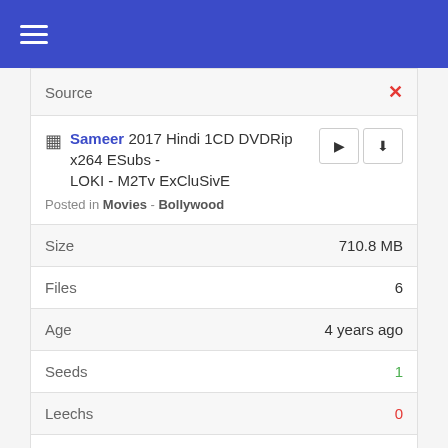Navigation menu header bar
| Field | Value |
| --- | --- |
| Source | ✗ |
| Sameer 2017 Hindi 1CD DVDRip x264 ESubs - LOKI - M2Tv ExCluSivE | Posted in Movies - Bollywood |  |
| Size | 710.8 MB |
| Files | 6 |
| Age | 4 years ago |
| Seeds | 1 |
| Leechs | 0 |
| Source | ✗ |
| Sameer (2017) Hindi 720p AVC AAC 5 1 Esub - mkvCinemas | Posted in Movies - Bollywood |  |
| Size | 2.6 GB |